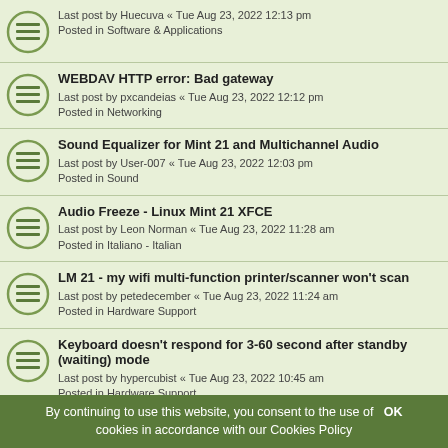Last post by Huecuva « Tue Aug 23, 2022 12:13 pm
Posted in Software & Applications
WEBDAV HTTP error: Bad gateway
Last post by pxcandeias « Tue Aug 23, 2022 12:12 pm
Posted in Networking
Sound Equalizer for Mint 21 and Multichannel Audio
Last post by User-007 « Tue Aug 23, 2022 12:03 pm
Posted in Sound
Audio Freeze - Linux Mint 21 XFCE
Last post by Leon Norman « Tue Aug 23, 2022 11:28 am
Posted in Italiano - Italian
LM 21 - my wifi multi-function printer/scanner won't scan
Last post by petedecember « Tue Aug 23, 2022 11:24 am
Posted in Hardware Support
Keyboard doesn't respond for 3-60 second after standby (waiting) mode
Last post by hypercubist « Tue Aug 23, 2022 10:45 am
Posted in Hardware Support
LM 21 and Mint-Y: Do you get bad window control buttons on GTK-4 apps?
Last post by sebastjava « Tue Aug 23, 2022 9:33 am
Posted in Themes, Icons & Wallpaper
keyboard and mouse wake my computer
Last post by charroo « Tue Aug 23, 2022 7:08 am
By continuing to use this website, you consent to the use of cookies in accordance with our Cookies Policy OK